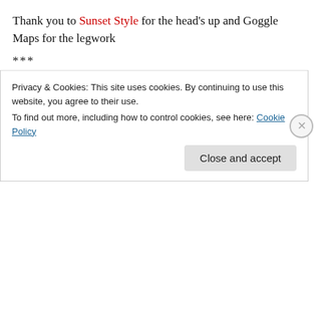Thank you to Sunset Style for the head's up and Goggle Maps for the legwork
***
RELATED POSTS –
Crazy Guy's House
The Friendship Bench House
[Figure (other): Green advertisement banner with white dots pattern]
Privacy & Cookies: This site uses cookies. By continuing to use this website, you agree to their use. To find out more, including how to control cookies, see here: Cookie Policy
Close and accept